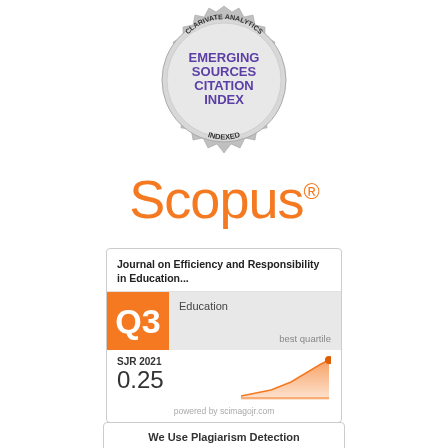[Figure (logo): Clarivate Analytics Emerging Sources Citation Index Indexed badge - circular medallion with purple text and serrated edge]
[Figure (logo): Scopus logo in orange text with registered trademark symbol]
[Figure (infographic): SCImago Journal Rank card showing Journal on Efficiency and Responsibility in Education..., Q3 in Education category, best quartile, SJR 2021 value of 0.25 with upward trending orange area chart, powered by scimagojr.com]
We Use Plagiarism Detection